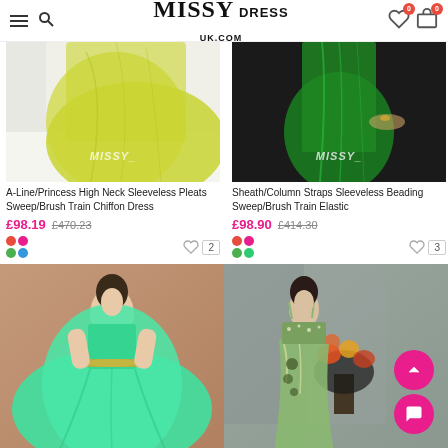MISSY DRESS UK.COM
[Figure (photo): Yellow-green chiffon dress train on white floor with MISSY watermark]
A-Line/Princess High Neck Sleeveless Pleats Sweep/Brush Train Chiffon Dress
£98.19  £470.23
[Figure (photo): Dark background green satin dress with MISSY watermark]
Sheath/Column Straps Sleeveless Beading Sweep/Brush Train Elastic
£98.90  £414.30
[Figure (photo): Model in mint green ballgown with beaded waist on pink/brown background]
[Figure (photo): Model in sage green mermaid gown with floral embellishments on grey background]